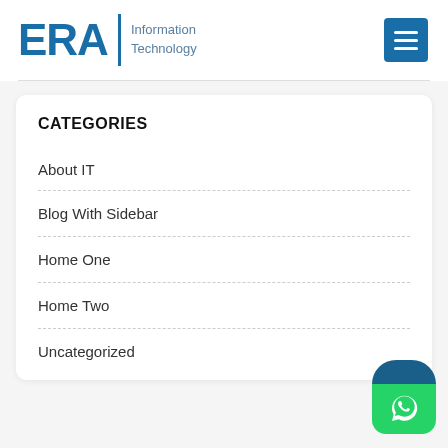[Figure (logo): ERA Information Technology logo with blue text and divider, and hamburger menu icon on the right]
CATEGORIES
About IT
Blog With Sidebar
Home One
Home Two
Uncategorized